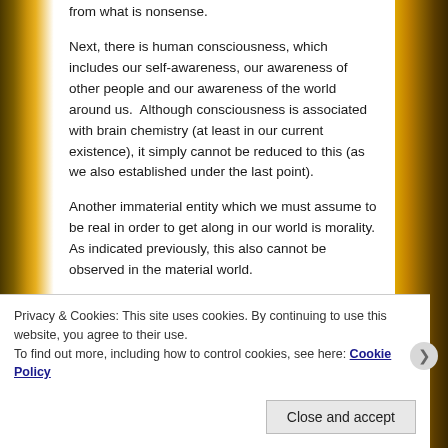from what is nonsense.
Next, there is human consciousness, which includes our self-awareness, our awareness of other people and our awareness of the world around us.  Although consciousness is associated with brain chemistry (at least in our current existence), it simply cannot be reduced to this (as we also established under the last point).
Another immaterial entity which we must assume to be real in order to get along in our world is morality.  As indicated previously, this also cannot be observed in the material world.
Finally, there is all of our experience and knowledge
Privacy & Cookies: This site uses cookies. By continuing to use this website, you agree to their use.
To find out more, including how to control cookies, see here: Cookie Policy